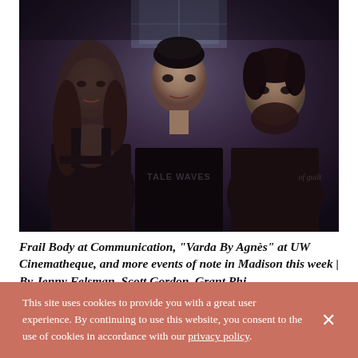[Figure (photo): Three band members standing together in a dark, moody lit setting. The center person wears a black shirt reading 'TALE WAVES'. Left person has long hair and dark overalls. Right person has shorter dark hair. Background shows a blueish window/light.]
Frail Body at Communication, "Varda By Agnès" at UW Cinematheque, and more events of note in Madison this week | By Jenny Felsman, Scott Gordon, Grant Phipps
This site uses cookies to provide you with a great user experience. By continuing to use this website, you consent to the use of cookies in accordance with our privacy policy.